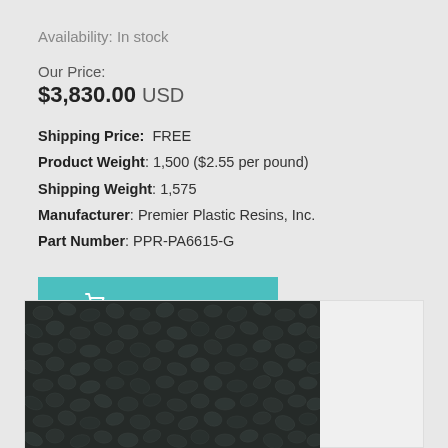Availability: In stock
Our Price:
$3,830.00 USD
Shipping Price:  FREE
Product Weight: 1,500 ($2.55 per pound)
Shipping Weight: 1,575
Manufacturer: Premier Plastic Resins, Inc.
Part Number: PPR-PA6615-G
[Figure (illustration): ADD TO CART button with shopping cart icon, teal/turquoise background]
[Figure (photo): Close-up photo of dark black plastic resin pellets/granules]